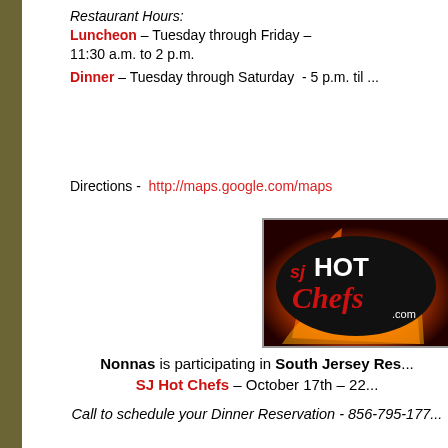Restaurant Hours:
Luncheon – Tuesday through Friday – 11:30 a.m. to 2 p.m.
Dinner – Tuesday through Saturday - 5 p.m. til ...
Directions - http://maps.google.com/maps
[Figure (logo): SJ Hot Chefs logo — black oval with orange flame background, red and white script text reading 'sj HOT Chefs .com']
Nonnas is participating in South Jersey Res... SJ Hot Chefs – October 17th – 22...
Call to schedule your Dinner Reservation - 856-795-177...
Let Nonna's Cater Your Next E...
Nonna's Hors'd'Oeuvres and Cocktail Pa...
Nonna's Silver Luncheon Menu
Nonna's Botticelli Dinner Menu